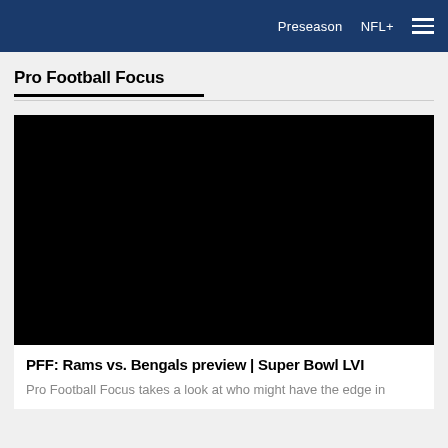Preseason  NFL+  ☰
Pro Football Focus
[Figure (photo): Black video thumbnail/image placeholder for article]
PFF: Rams vs. Bengals preview | Super Bowl LVI
Pro Football Focus takes a look at who might have the edge in